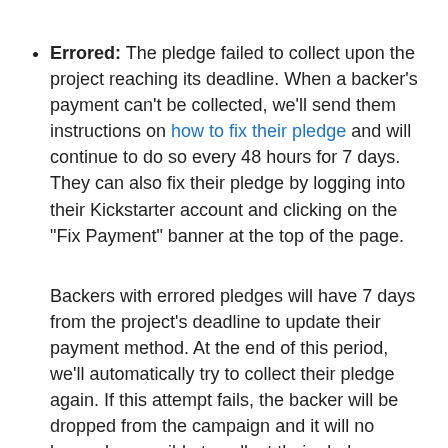Errored: The pledge failed to collect upon the project reaching its deadline. When a backer's payment can't be collected, we'll send them instructions on how to fix their pledge and will continue to do so every 48 hours for 7 days. They can also fix their pledge by logging into their Kickstarter account and clicking on the "Fix Payment" banner at the top of the page.

Backers with errored pledges will have 7 days from the project's deadline to update their payment method. At the end of this period, we'll automatically try to collect their pledge again. If this attempt fails, the backer will be dropped from the campaign and it will no longer be possible to collect their pledge.
Authentication required: This status is less